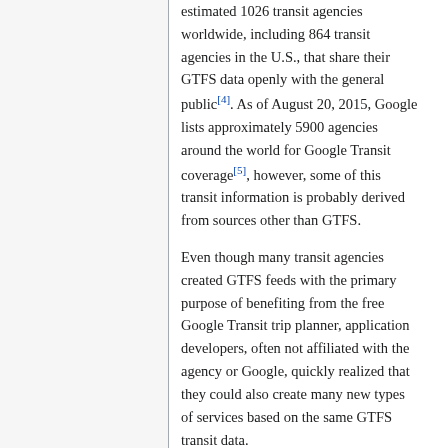estimated 1026 transit agencies worldwide, including 864 transit agencies in the U.S., that share their GTFS data openly with the general public[4]. As of August 20, 2015, Google lists approximately 5900 agencies around the world for Google Transit coverage[5], however, some of this transit information is probably derived from sources other than GTFS.
Even though many transit agencies created GTFS feeds with the primary purpose of benefiting from the free Google Transit trip planner, application developers, often not affiliated with the agency or Google, quickly realized that they could also create many new types of services based on the same GTFS transit data.
As a result of third party developer